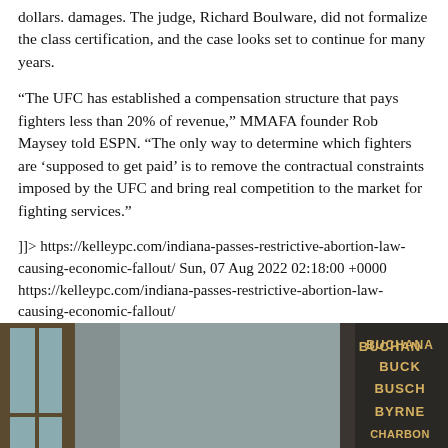dollars. damages. The judge, Richard Boulware, did not formalize the class certification, and the case looks set to continue for many years.
“The UFC has established a compensation structure that pays fighters less than 20% of revenue,” MMAFA founder Rob Maysey told ESPN. “The only way to determine which fighters are ‘supposed to get paid’ is to remove the contractual constraints imposed by the UFC and bring real competition to the market for fighting services.”
]]> https://kelleypc.com/indiana-passes-restrictive-abortion-law-causing-economic-fallout/ Sun, 07 Aug 2022 02:18:00 +0000 https://kelleypc.com/indiana-passes-restrictive-abortion-law-causing-economic-fallout/
[Figure (photo): A dimly lit interior photo showing a window on the left side and a dark wall/pillar on the right bearing gold or illuminated text listing names: BUCHANAN, BUCK, BUSCH, BYRNE, CHARBONNEAU (partial), CRANE, CRIDER, DONA (partial).]